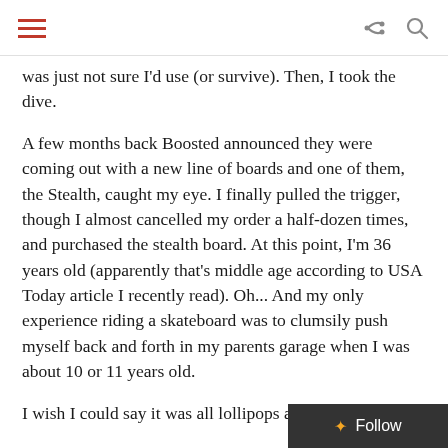[hamburger menu icon] [share icon] [search icon]
was just not sure I'd use (or survive).  Then, I took the dive.
A few months back Boosted announced they were coming out with a new line of boards and one of them, the Stealth, caught my eye.  I finally pulled the trigger, though I almost cancelled my order a half-dozen times, and purchased the stealth board.  At this point, I'm 36 years old (apparently that's middle age according to USA Today article I recently read).  Oh...  And my only experience riding a skateboard was to clumsily push myself back and forth in my parents garage when I was about 10 or 11 years old.
I wish I could say it was all lollipops and rainb